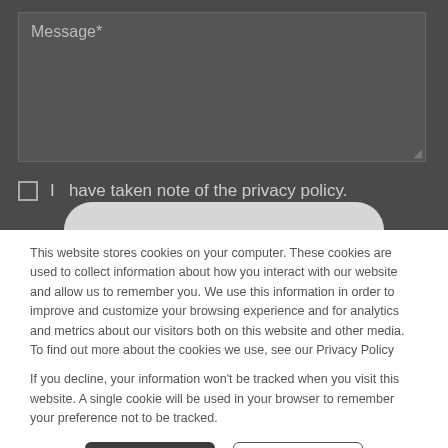[Figure (screenshot): Dark form section with a message textarea input field showing placeholder text 'Message*']
I  have taken note of the privacy policy.
This website stores cookies on your computer. These cookies are used to collect information about how you interact with our website and allow us to remember you. We use this information in order to improve and customize your browsing experience and for analytics and metrics about our visitors both on this website and other media. To find out more about the cookies we use, see our Privacy Policy
If you decline, your information won't be tracked when you visit this website. A single cookie will be used in your browser to remember your preference not to be tracked.
Accept
Decline